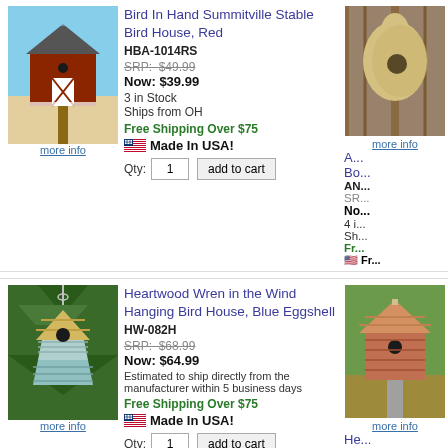[Figure (photo): Red barn-style bird house on a post against blue sky background]
more info
Bird In Hand Summitville Stable Bird House, Red
HBA-1014RS
SRP: $49.99
Now: $39.99
3 in Stock
Ships from OH
Free Shipping Over $75
Made In USA!
Qty: 1  add to cart
[Figure (photo): Gourd birdhouse mounted on wooden fence]
more info
A... Bo...
AN...
SRP: ...
No...
4 i...
Sh...
Fr...
[Figure (photo): Blue-green hanging wren bird house with pine tree background]
more info
Heartwood Wren in the Wind Hanging Bird House, Blue Eggshell
HW-082H
SRP: $68.99
Now: $64.99
Estimated to ship directly from the manufacturer within 5 business days
Free Shipping Over $75
Made In USA!
Qty: 1  add to cart
[Figure (photo): Red/orange wooden bird house on a post]
more info
He... Re...
HW...
SR...
No...
Es... ma...
Fr...
Heartwood Flock of Ages Bird House
W...